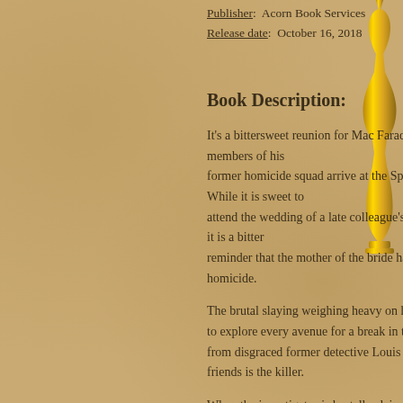Publisher: Acorn Book Services
Release date: October 16, 2018
Book Description:
It's a bittersweet reunion for Mac Faraday when members of his former homicide squad arrive at the Spencer Inn. While it is sweet to attend the wedding of a late colleague's daughter, it is a bitter reminder that the mother of the bride had been the victim of homicide.

The brutal slaying weighing heavy on his mind, Mac is an to explore every avenue for a break in the cold case—eve from disgraced former detective Louis Gannon that one o friends is the killer.

When the investigator is brutally slain, Mac Faraday rips the cold case with a ruthless determination to reveal whic friends is a cold-blooded murderer.
[Figure (illustration): Gold decorative figure/trophy silhouette on the right side of the page]